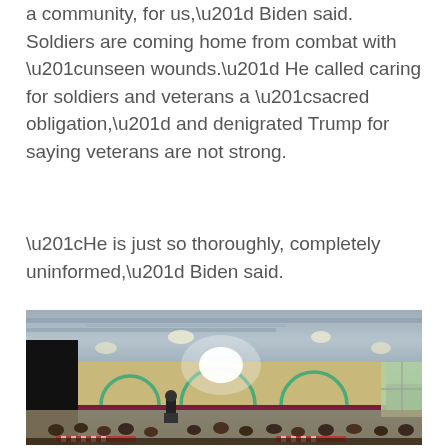a community, for us,” Biden said. Soldiers are coming home from combat with “unseen wounds.” He called caring for soldiers and veterans a “sacred obligation,” and denigrated Trump for saying veterans are not strong.
“He is just so thoroughly, completely uninformed,” Biden said.
[Figure (photo): Indoor event venue/gymnasium with Biden speaking at a podium on a stage. The room has industrial ceiling with ductwork and overhead lights. Yellow/tan walls decorated with teal arch/rainbow motifs. A maroon horizontal stripe runs along the wall. Black curtain on the left side. Bright stage light in center. Audience seated at tables with red and white decorations in the foreground. Window visible on right side.]